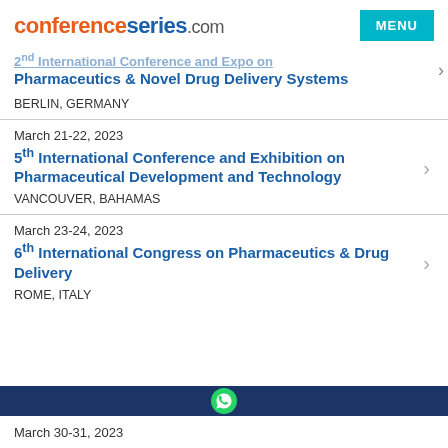conferenceseries.com
2nd International Conference and Expo on Pharmaceutics & Novel Drug Delivery Systems
BERLIN, GERMANY
March 21-22, 2023
5th International Conference and Exhibition on Pharmaceutical Development and Technology
VANCOUVER, BAHAMAS
March 23-24, 2023
6th International Congress on Pharmaceutics & Drug Delivery
ROME, ITALY
March 30-31, 2023